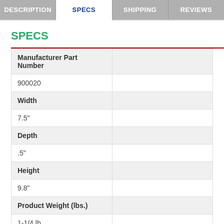DESCRIPTION | SPECS | SHIPPING | REVIEWS
SPECS
| Manufacturer Part Number |  |
| --- | --- |
| 900020 |  |
| Width |  |
| 7.5" |  |
| Depth |  |
| .5" |  |
| Height |  |
| 9.8" |  |
| Product Weight (lbs.) |  |
| 1-1/4 lb. |  |
| Page Count |  |